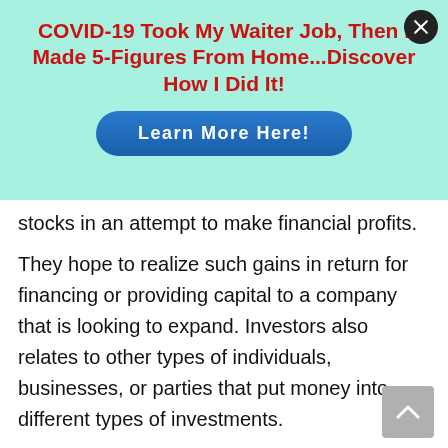[Figure (infographic): Ad banner with mint green background. Title in red bold text: 'COVID-19 Took My Waiter Job, Then I Made 5-Figures From Home...Discover How I Did It!' with a blue rounded button labeled 'Learn More Here!' and a close (X) button in top-right corner.]
stocks in an attempt to make financial profits.
They hope to realize such gains in return for financing or providing capital to a company that is looking to expand. Investors also relates to other types of individuals, businesses, or parties that put money into different types of investments.